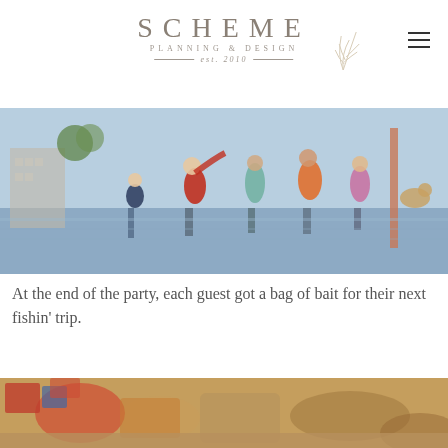SCHEME PLANNING & DESIGN est. 2010
[Figure (photo): Children playing in a splash pad / water play area outdoors on a sunny day, with reflections on the wet ground]
At the end of the party, each guest got a bag of bait for their next fishin' trip.
[Figure (photo): Close-up of snack bags and party favors on a table, blurred background]